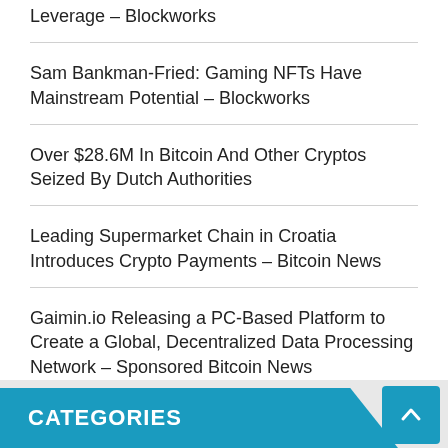Leverage – Blockworks
Sam Bankman-Fried: Gaming NFTs Have Mainstream Potential – Blockworks
Over $28.6M In Bitcoin And Other Cryptos Seized By Dutch Authorities
Leading Supermarket Chain in Croatia Introduces Crypto Payments – Bitcoin News
Gaimin.io Releasing a PC-Based Platform to Create a Global, Decentralized Data Processing Network – Sponsored Bitcoin News
CATEGORIES